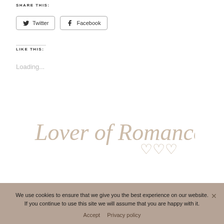SHARE THIS:
[Figure (other): Twitter share button with bird icon]
[Figure (other): Facebook share button with f icon]
LIKE THIS:
Loading...
[Figure (illustration): Cursive script signature reading 'Lover of Romance' with heart decorations, in light tan/beige color]
We use cookies to ensure that we give you the best experience on our website. If you continue to use this site we will assume that you are happy with it.
Accept   Privacy policy